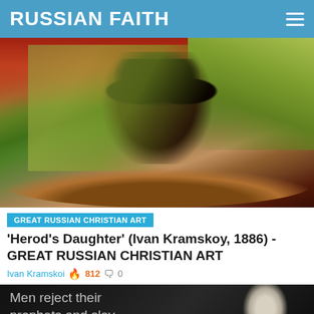RUSSIAN FAITH
[Figure (photo): Painting of a bearded man's severed head on a platter, wrapped in green and gold fabric, against a red background — appears to be a depiction of John the Baptist's head on a plate]
GREAT RUSSIAN CHRISTIAN ART
'Herod's Daughter' (Ivan Kramskoy, 1886) - GREAT RUSSIAN CHRISTIAN ART
Ivan Kramskoi 🔥 812 💬 0
[Figure (photo): Dark image with text overlay reading 'Men reject their prophets and slay them, but they love' alongside a portrait of a person]